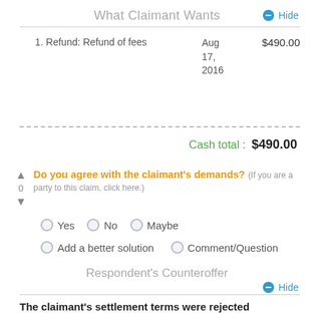What Claimant Wants
Hide
1. Refund: Refund of fees   Aug 17, 2016   $490.00
Cash total :  $490.00
Do you agree with the claimant's demands? (If you are a party to this claim, click here.)
Yes   No   Maybe
Add a better solution   Comment/Question
Respondent's Counteroffer
Hide
The claimant's settlement terms were rejected with no explanation. This claim will remain